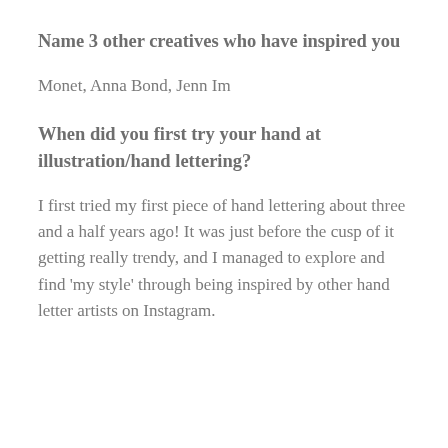Name 3 other creatives who have inspired you
Monet, Anna Bond, Jenn Im
When did you first try your hand at illustration/hand lettering?
I first tried my first piece of hand lettering about three and a half years ago! It was just before the cusp of it getting really trendy, and I managed to explore and find ‘my style’ through being inspired by other hand letter artists on Instagram.